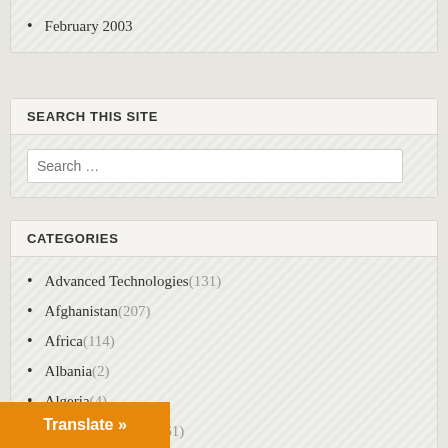February 2003
SEARCH THIS SITE
Search …
CATEGORIES
Advanced Technologies (131)
Afghanistan (207)
Africa (114)
Albania (2)
Algeria (4)
American Empire (561)
Analysis (279)
…d (4)
Translate »